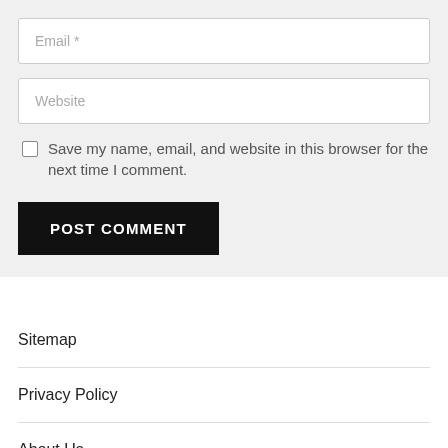Email *
Website
Save my name, email, and website in this browser for the next time I comment.
POST COMMENT
Sitemap
Privacy Policy
About Us